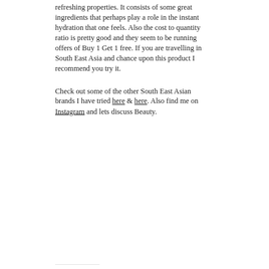refreshing properties. It consists of some great ingredients that perhaps play a role in the instant hydration that one feels. Also the cost to quantity ratio is pretty good and they seem to be running offers of Buy 1 Get 1 free. If you are travelling in South East Asia and chance upon this product I recommend you try it.
Check out some of the other South East Asian brands I have tried here & here. Also find me on Instagram and lets discuss Beauty.